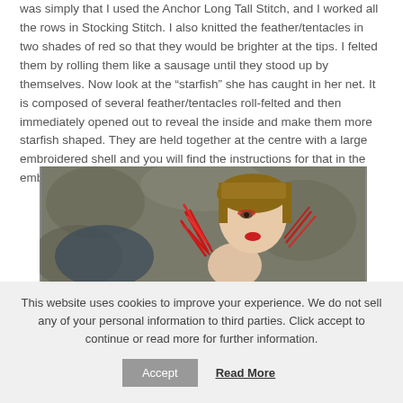was simply that I used the Anchor Long Tall Stitch, and I worked all the rows in Stocking Stitch. I also knitted the feather/tentacles in two shades of red so that they would be brighter at the tips. I felted them by rolling them like a sausage until they stood up by themselves. Now look at the “starfish” she has caught in her net. It is composed of several feather/tentacles roll-felted and then immediately opened out to reveal the inside and make them more starfish shaped. They are held together at the centre with a large embroidered shell and you will find the instructions for that in the embroidery section.
[Figure (photo): A woman with a short brown bob haircut wearing red feather/tentacle decorations near her face, posed against a rocky stone background.]
This website uses cookies to improve your experience. We do not sell any of your personal information to third parties. Click accept to continue or read more for further information.